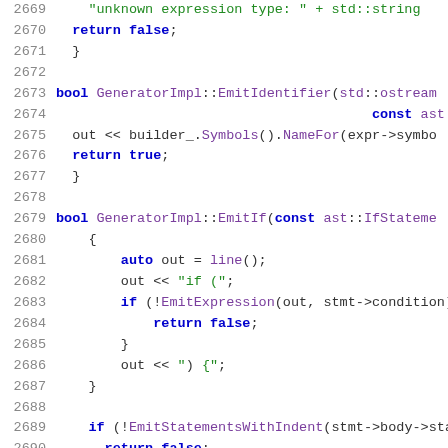Source code listing, lines 2669-2690, C++ generator implementation
2669:     "unknown expression type: " + std::string
2670:   return false;
2671: }
2672: (blank)
2673: bool GeneratorImpl::EmitIdentifier(std::ostream
2674:                                        const ast::I
2675:   out << builder_.Symbols().NameFor(expr->symbo
2676:   return true;
2677: }
2678: (blank)
2679: bool GeneratorImpl::EmitIf(const ast::IfStateme
2680:   {
2681:     auto out = line();
2682:     out << "if (";
2683:     if (!EmitExpression(out, stmt->condition))
2684:       return false;
2685:     }
2686:     out << ") {";
2687:   }
2688: (blank)
2689:   if (!EmitStatementsWithIndent(stmt->body->sta
2690:     return false;